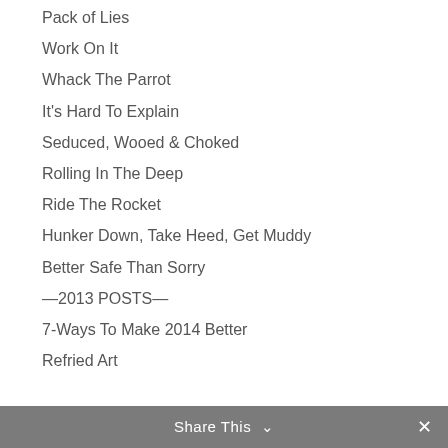Pack of Lies
Work On It
Whack The Parrot
It's Hard To Explain
Seduced, Wooed & Choked
Rolling In The Deep
Ride The Rocket
Hunker Down, Take Heed, Get Muddy
Better Safe Than Sorry
—2013 POSTS—
7-Ways To Make 2014 Better
Refried Art
Share This ∨  ✕